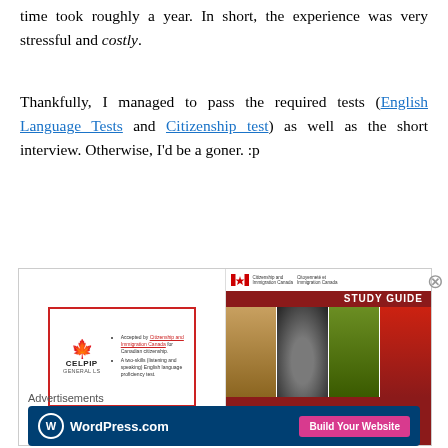time took roughly a year. In short, the experience was very stressful and costly.
Thankfully, I managed to pass the required tests (English Language Tests and Citizenship test) as well as the short interview. Otherwise, I'd be a goner. :p
[Figure (photo): Two book/resource images side by side: left shows a CELPIP General LS test booklet cover with a red border and bullet points about acceptance by Citizenship and Immigration Canada; right shows the 'Discover Canada' Study Guide cover with Canadian imagery including a soldier, moose, and poppies, published by Citizenship and Immigration Canada.]
Advertisements
[Figure (other): WordPress.com advertisement banner with dark blue background, WordPress logo on the left, and a pink 'Build Your Website' button on the right.]